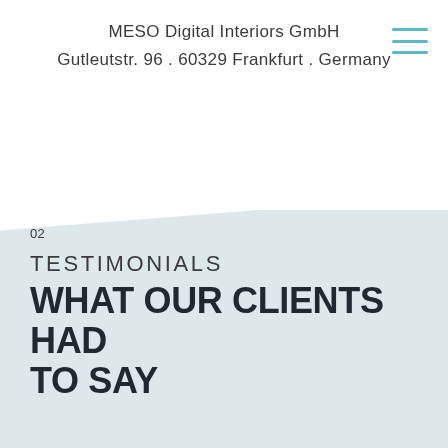MESO Digital Interiors GmbH
Gutleutstr. 96 . 60329 Frankfurt . Germany
02
TESTIMONIALS
WHAT OUR CLIENTS HAD TO SAY